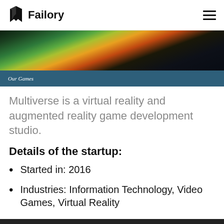Failory
[Figure (screenshot): Game banner showing fantasy creatures (dragons/monsters) with colorful scene, with a dark teal caption bar below reading 'Our Games']
Multiverse is a virtual reality and augmented reality game development studio.
Details of the startup:
Started in: 2016
Industries: Information Technology, Video Games, Virtual Reality